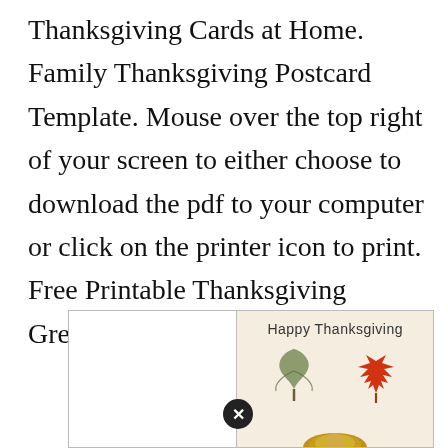Thanksgiving Cards at Home. Family Thanksgiving Postcard Template. Mouse over the top right of your screen to either choose to download the pdf to your computer or click on the printer icon to print. Free Printable Thanksgiving Greeting Cards.
[Figure (illustration): A Thanksgiving greeting card preview showing 'Happy Thanksgiving' text with autumn leaves (green/brown maple leaf on left, red maple leaf on right) and a turkey illustration at the bottom. The card has a beige/cream background on the right panel and white on the left panel, with a close (X) button at the bottom center.]